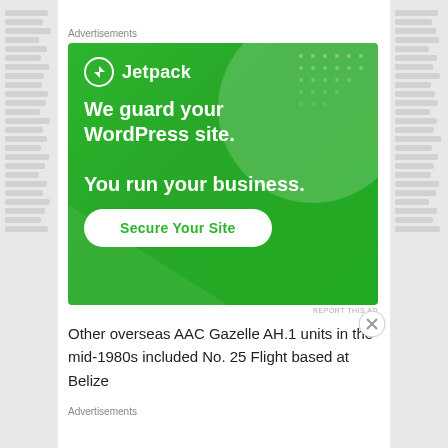Advertisements
[Figure (illustration): Jetpack advertisement banner with green background. Shows Jetpack logo (lightning bolt icon in circle) and text 'We guard your WordPress site. You run your business.' with a 'Secure Your Site' button.]
REPORT THIS AD
Other overseas AAC Gazelle AH.1 units in the mid-1980s included No. 25 Flight based at Belize
Advertisements
REPORT THIS AD